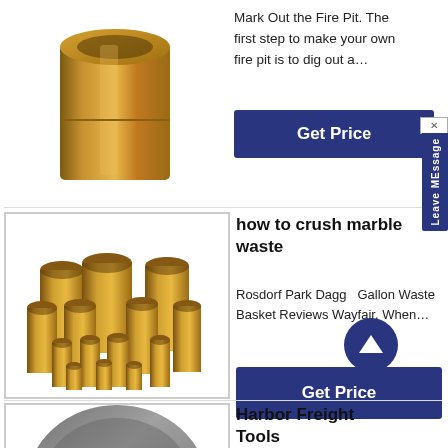[Figure (photo): Cylindrical bronze/brass bushing or sleeve, metallic gold-brown color, shown standing upright]
Mark Out the Fire Pit. The first step to make your own fire pit is to dig out a…
Get Price
[Figure (photo): Collection of various-sized bronze/brass cylindrical tubes/bushings arranged in a group]
how to crush marble waste
Rosdorf Park Dagge Gallon Waste Basket Reviews Wayfair. When…
Get Price
[Figure (photo): Partial view of a dark metallic disc or wheel, shown from above]
Harbor Freight Tools